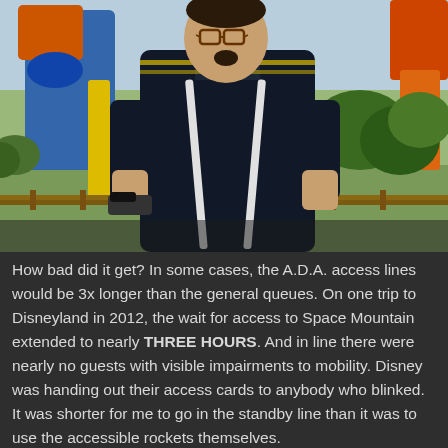[Figure (photo): A man wearing a dark navy polo shirt with yellow stripes and white suspenders stands in front of a theme park ride area, likely Disneyland, with colorful ride structures (blue and orange), yellow poles, green hedges, and a fence visible in the background.]
How bad did it get? In some cases, the A.D.A. access lines would be 3x longer than the general queues. On one trip to Disneyland in 2012, the wait for access to Space Mountain extended to nearly THREE HOURS. And in line there were nearly no guests with visible impairments to mobility. Disney was handing out their access cards to anybody who blinked. It was shorter for me to go in the standby line than it was to use the accessible rockets themselves.